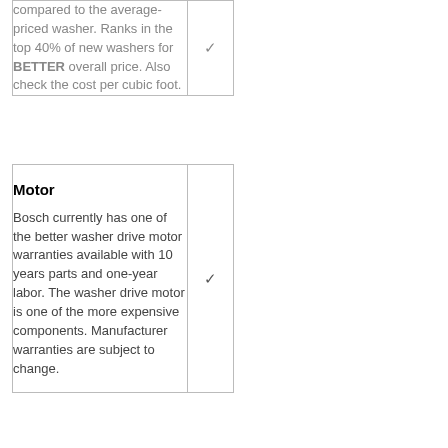| Description | Check |
| --- | --- |
| compared to the average-priced washer. Ranks in the top 40% of new washers for BETTER overall price. Also check the cost per cubic foot. | ✓ |
| Description | Check |
| --- | --- |
| Motor
Bosch currently has one of the better washer drive motor warranties available with 10 years parts and one-year labor. The washer drive motor is one of the more expensive components. Manufacturer warranties are subject to change. | ✓ |